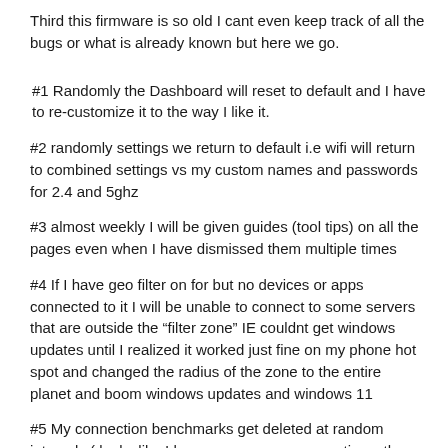Third this firmware is so old I cant even keep track of all the bugs or what is already known but here we go.
#1 Randomly the Dashboard will reset to default and I have to re-customize it to the way I like it.
#2 randomly settings we return to default i.e wifi will return to combined settings vs my custom names and passwords for 2.4 and 5ghz
#3 almost weekly I will be given guides (tool tips) on all the pages even when I have dismissed them multiple times
#4 If I have geo filter on for but no devices or apps connected to it I will be unable to connect to some servers that are outside the “filter zone” IE couldnt get windows updates until I realized it worked just fine on my phone hot spot and changed the radius of the zone to the entire planet and boom windows updates and windows 11
#5 My connection benchmarks get deleted at random intervals ( looks like I have never ran one sometimes they get deleted after as little as 6 hours)
#6 QOS tab just deletes everything. My custom bandwidth settings, my